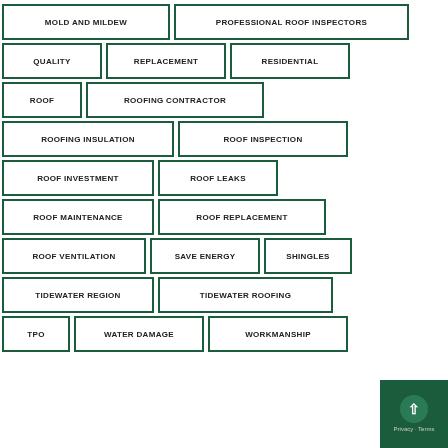MOLD AND MILDEW
PROFESSIONAL ROOF INSPECTORS
QUALITY
REPLACEMENT
RESIDENTIAL
ROOF
ROOFING CONTRACTOR
ROOFING INSULATION
ROOF INSPECTION
ROOF INVESTMENT
ROOF LEAKS
ROOF MAINTENANCE
ROOF REPLACEMENT
ROOF VENTILATION
SAVE ENERGY
SHINGLES
TIDEWATER REGION
TIDEWATER ROOFING
TPO
WATER DAMAGE
WORKMANSHIP